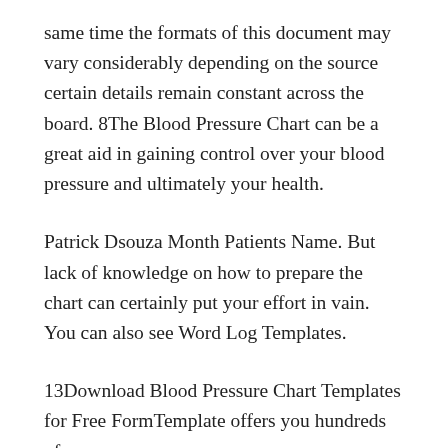same time the formats of this document may vary considerably depending on the source certain details remain constant across the board. 8The Blood Pressure Chart can be a great aid in gaining control over your blood pressure and ultimately your health.
Patrick Dsouza Month Patients Name. But lack of knowledge on how to prepare the chart can certainly put your effort in vain. You can also see Word Log Templates.
13Download Blood Pressure Chart Templates for Free FormTemplate offers you hundreds of